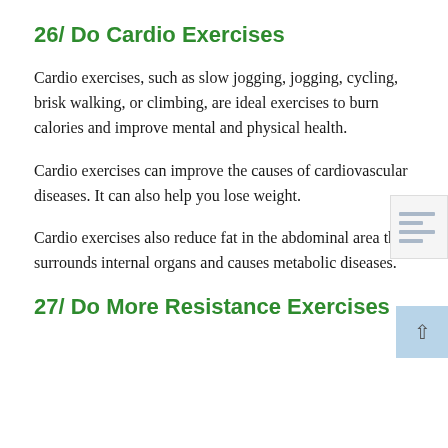26/ Do Cardio Exercises
Cardio exercises, such as slow jogging, jogging, cycling, brisk walking, or climbing, are ideal exercises to burn calories and improve mental and physical health.
Cardio exercises can improve the causes of cardiovascular diseases. It can also help you lose weight.
Cardio exercises also reduce fat in the abdominal area that surrounds internal organs and causes metabolic diseases.
27/ Do More Resistance Exercises